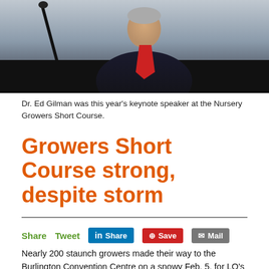[Figure (photo): Dr. Ed Gilman speaking at a podium with a microphone, wearing a dark suit and red tie.]
Dr. Ed Gilman was this year's keynote speaker at the Nursery Growers Short Course.
Growers Short Course strong, despite storm
Nearly 200 staunch growers made their way to the Burlington Convention Centre on a snowy Feb. 5, for LO's annual Nursery Growers Short Course.
Keynote lecturer was Dr. Ed Gilman, Professor of Urban Trees and Landscape Plants from the University of Florida. Gilman spoke three times during the course of the day, on root